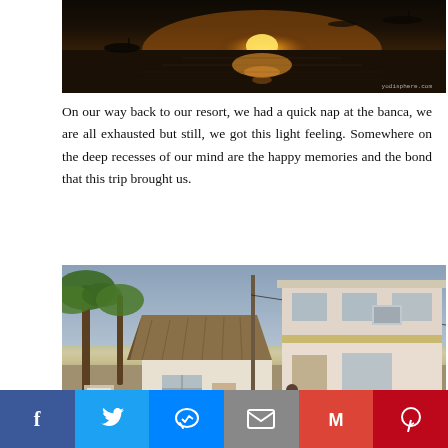[Figure (photo): Sunset over water with boats silhouetted, golden reflection on ocean, watermark 'yodisphere.com' in bottom right]
On our way back to our resort, we had a quick nap at the banca, we are all exhausted but still, we got this light feeling. Somewhere on the deep recesses of our mind are the happy memories and the bond that this trip brought us.
[Figure (photo): Resort building with thatched roof hut in foreground, palm trees on left, two-story white building on right with air conditioning unit, utility pole in center, outdoor area with fence]
Facebook Twitter Messenger Email Gmail Pinterest